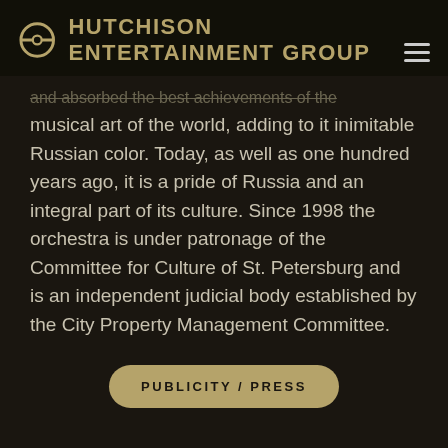HUTCHISON ENTERTAINMENT GROUP
and absorbed the best achievements of the musical art of the world, adding to it inimitable Russian color. Today, as well as one hundred years ago, it is a pride of Russia and an integral part of its culture. Since 1998 the orchestra is under patronage of the Committee for Culture of St. Petersburg and is an independent judicial body established by the City Property Management Committee.
PUBLICITY / PRESS